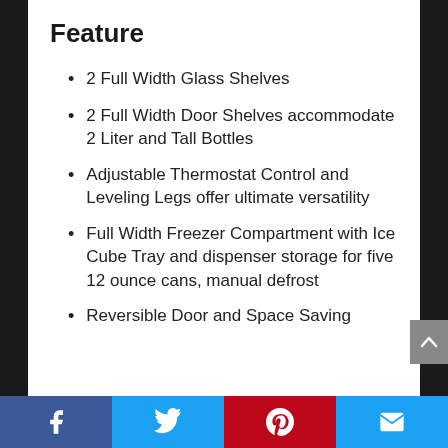Feature
2 Full Width Glass Shelves
2 Full Width Door Shelves accommodate 2 Liter and Tall Bottles
Adjustable Thermostat Control and Leveling Legs offer ultimate versatility
Full Width Freezer Compartment with Ice Cube Tray and dispenser storage for five 12 ounce cans, manual defrost
Reversible Door and Space Saving
Facebook | Twitter | Pinterest | Email